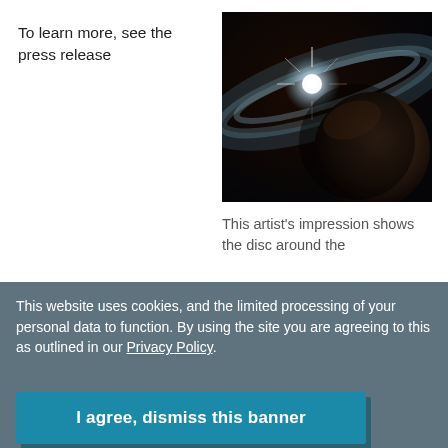To learn more, see the press release
[Figure (illustration): Artist's impression of a glowing star with bright light and a disc around a planet, set against a dark space background.]
This artist’s impression shows the disc around the
This website uses cookies, and the limited processing of your personal data to function. By using the site you are agreeing to this as outlined in our Privacy Policy.
I agree, dismiss this banner